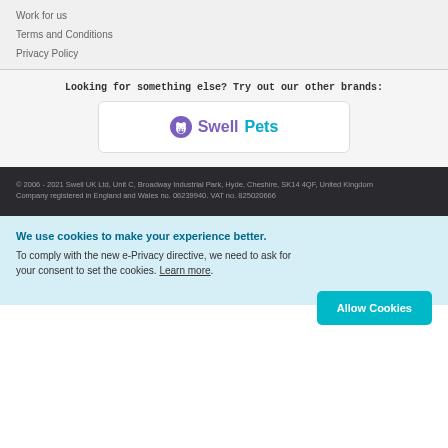Work for us
Terms and Conditions
Privacy Policy
Looking for something else? Try out our other brands:
[Figure (logo): SwellPets logo with purple paw print icon and purple/teal text]
© 2006 - 2021 Swell UK Ltd, Unit C, Broadway Industrial Park, Hyde, Cheshire, SK14 4QF, United Kingdom Company registered in England and Wales no. 06239940. VAT no. 825020666
We use cookies to make your experience better. To comply with the new e-Privacy directive, we need to ask for your consent to set the cookies. Learn more.